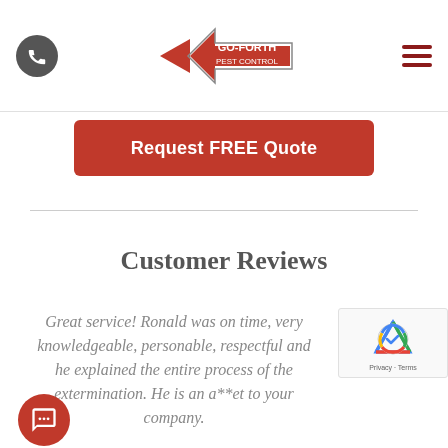Go-Forth Pest Control navigation header with phone icon, logo, and hamburger menu
Request FREE Quote
Customer Reviews
Great service! Ronald was on time, very knowledgeable, personable, respectful and he explained the entire process of the extermination. He is an a**et to your company.